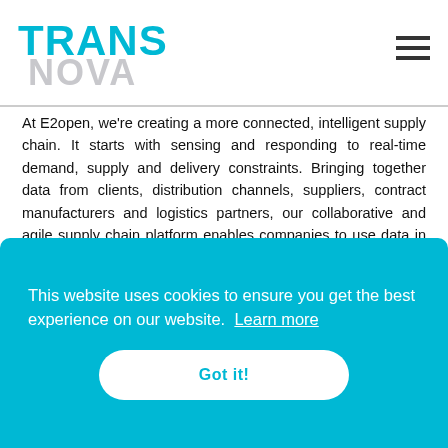[Figure (logo): TransNova logo with TRANS in cyan and NOVA in light gray]
At E2open, we're creating a more connected, intelligent supply chain. It starts with sensing and responding to real-time demand, supply and delivery constraints. Bringing together data from clients, distribution channels, suppliers, contract manufacturers and logistics partners, our collaborative and agile supply chain platform enables companies to use data in real time, with artificial intelligence and machine learning to drive smarter decisions. All this complex information is delivered in a single view that encompasses your demand, supply and demand.
This website uses cookies to ensure you get the best experience on our website. Learn more
Got it!